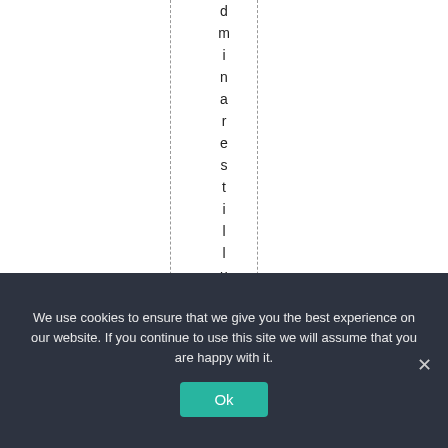adminaresstillutterly
We use cookies to ensure that we give you the best experience on our website. If you continue to use this site we will assume that you are happy with it.